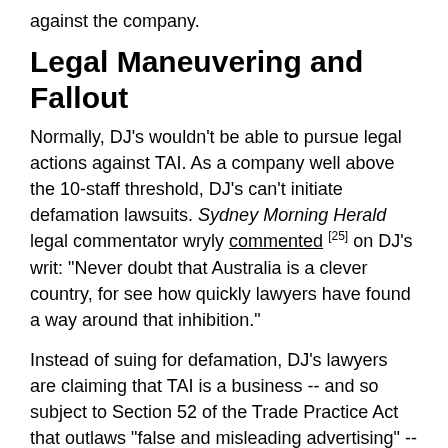against the company.
Legal Maneuvering and Fallout
Normally, DJ's wouldn't be able to pursue legal actions against TAI. As a company well above the 10-staff threshold, DJ's can't initiate defamation lawsuits. Sydney Morning Herald legal commentator wryly commented [25] on DJ's writ: "Never doubt that Australia is a clever country, for see how quickly lawyers have found a way around that inhibition."
Instead of suing for defamation, DJ's lawyers are claiming that TAI is a business -- and so subject to Section 52 of the Trade Practice Act that outlaws "false and misleading advertising" -- even though TAI is a non-profit think-tank registered as a charity with the Australian Tax Office. While the provision was originally intended to protect consumers from misleading advertising, DJ's are aiming to use it stifle criticism of their own advertising.
In their statement of claim, DJ's argues that TAI "offers membership services in return for subscription payments," sells reports and books it produces, and conducts "research and analysis for reward": therefore, TAI "carries